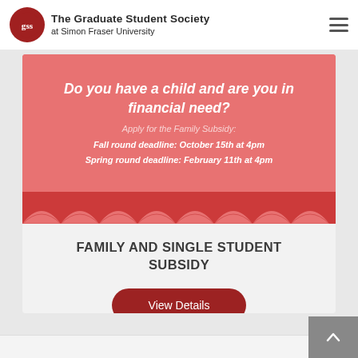The Graduate Student Society at Simon Fraser University
[Figure (infographic): Pink banner with italic white text: 'Do you have a child and are you in financial need? Apply for the Family Subsidy: Fall round deadline: October 15th at 4pm Spring round deadline: February 11th at 4pm'. Decorative scallop pattern at the bottom in darker red/pink.]
FAMILY AND SINGLE STUDENT SUBSIDY
View Details